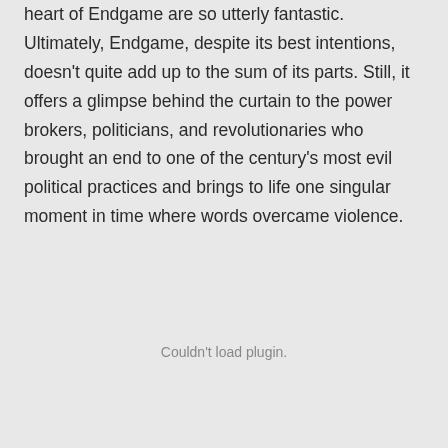heart of Endgame are so utterly fantastic. Ultimately, Endgame, despite its best intentions, doesn't quite add up to the sum of its parts. Still, it offers a glimpse behind the curtain to the power brokers, politicians, and revolutionaries who brought an end to one of the century's most evil political practices and brings to life one singular moment in time where words overcame violence.
Couldn't load plugin.